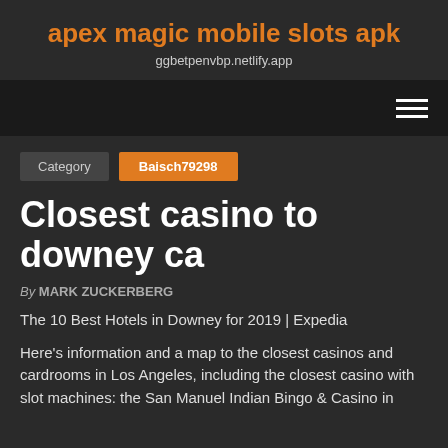apex magic mobile slots apk
ggbetpenvbp.netlify.app
Category  Baisch79298
Closest casino to downey ca
By MARK ZUCKERBERG
The 10 Best Hotels in Downey for 2019 | Expedia
Here's information and a map to the closest casinos and cardrooms in Los Angeles, including the closest casino with slot machines: the San Manuel Indian Bingo & Casino in